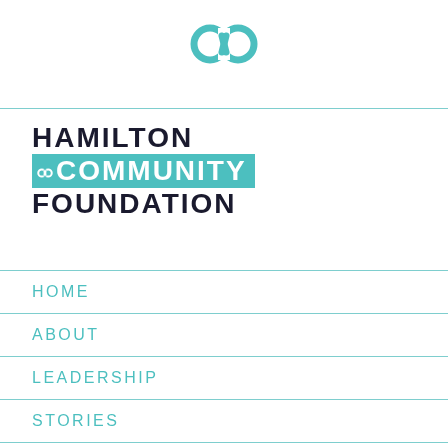[Figure (logo): Teal infinity/loop symbol logo mark]
HAMILTON COMMUNITY FOUNDATION
HOME
ABOUT
LEADERSHIP
STORIES
INVESTING
GIVING